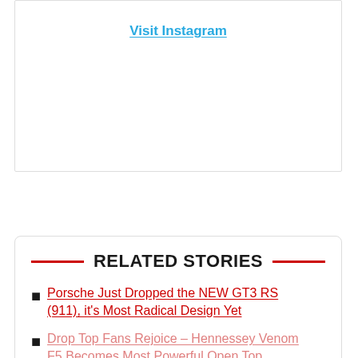Visit Instagram
RELATED STORIES
Porsche Just Dropped the NEW GT3 RS (911), it's Most Radical Design Yet
Drop Top Fans Rejoice – Hennessey Venom F5 Becomes Most Powerful Open Top Hypercar Ever